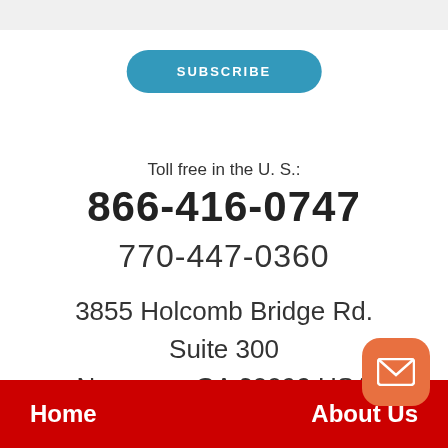SUBSCRIBE
Toll free in the U. S.:
866-416-0747
770-447-0360
3855 Holcomb Bridge Rd.
Suite 300
Norcross, GA 30092 USA
Home   About Us